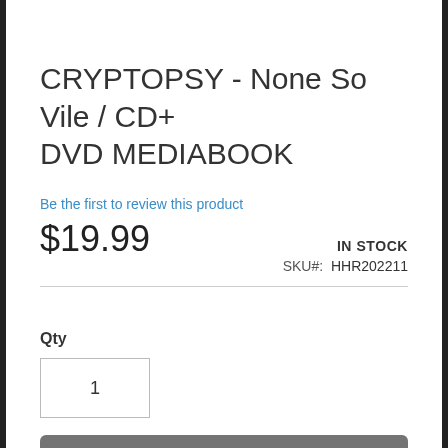CRYPTOPSY - None So Vile / CD+ DVD MEDIABOOK
Be the first to review this product
$19.99  IN STOCK  SKU#: HHR202211
Qty
1
Add to Cart